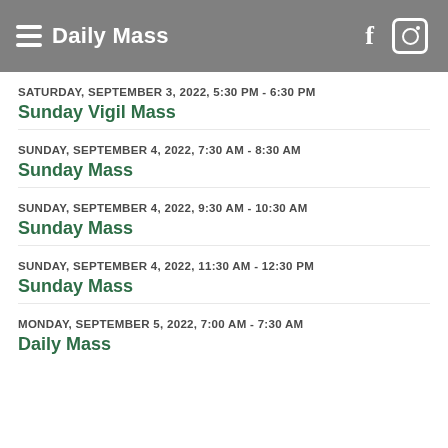Daily Mass
SATURDAY, SEPTEMBER 3, 2022, 5:30 PM - 6:30 PM
Sunday Vigil Mass
SUNDAY, SEPTEMBER 4, 2022, 7:30 AM - 8:30 AM
Sunday Mass
SUNDAY, SEPTEMBER 4, 2022, 9:30 AM - 10:30 AM
Sunday Mass
SUNDAY, SEPTEMBER 4, 2022, 11:30 AM - 12:30 PM
Sunday Mass
MONDAY, SEPTEMBER 5, 2022, 7:00 AM - 7:30 AM
Daily Mass